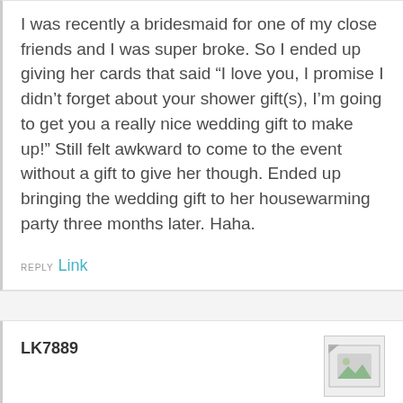I was recently a bridesmaid for one of my close friends and I was super broke. So I ended up giving her cards that said “I love you, I promise I didn’t forget about your shower gift(s), I’m going to get you a really nice wedding gift to make up!” Still felt awkward to come to the event without a gift to give her though. Ended up bringing the wedding gift to her housewarming party three months later. Haha.
REPLY Link
LK7889
[Figure (photo): Small broken image placeholder/avatar thumbnail]
Still, I wonder how many gifts are *actually* lost and how many people use that as